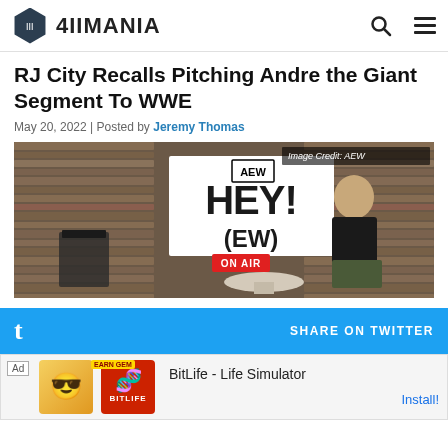4IIMANIA
RJ City Recalls Pitching Andre the Giant Segment To WWE
May 20, 2022 | Posted by Jeremy Thomas
[Figure (photo): RJ City sitting in front of an AEW HEY!(EW) show backdrop with wooden pallet wall, ON AIR sign visible. Image Credit: AEW]
[Figure (screenshot): Twitter share bar with SHARE ON TWITTER text]
[Figure (infographic): Ad banner for BitLife - Life Simulator with Install button]